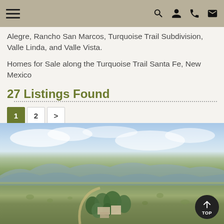[Navigation bar with hamburger menu, search, user, phone, and email icons]
Alegre, Rancho San Marcos, Turquoise Trail Subdivision, Valle Linda, and Valle Vista.
Homes for Sale along the Turquoise Trail Santa Fe, New Mexico
27 Listings Found
1  2  >
[Figure (photo): Aerial photograph of a ranch homestead surrounded by open grassland/high desert plains, with mountains visible in the background under a partly cloudy sky, near Santa Fe, New Mexico.]